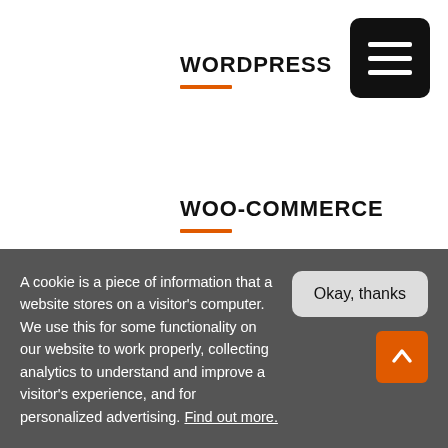WORDPRESS
WOO-COMMERCE
TOP 20 TAGS
Alexa Rank 1
A cookie is a piece of information that a website stores on a visitor's computer. We use this for some functionality on our website to work properly, collecting analytics to understand and improve a visitor's experience, and for personalized advertising. Find out more.